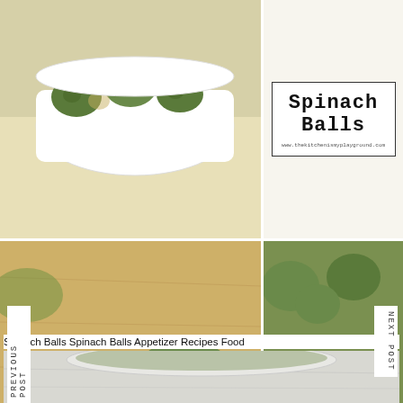[Figure (photo): Spinach balls in a white bowl, top-left photo]
Spinach Balls
www.thekitchenismyplayground.com
[Figure (photo): Close-up of spinach balls on a wooden cutting board, middle-left]
[Figure (photo): Spinach balls in a white bowl from above, middle-right]
Spinach Balls Spinach Balls Appetizer Recipes Food
[Figure (photo): Bottom partial photo of a bowl of spinach dip or soup]